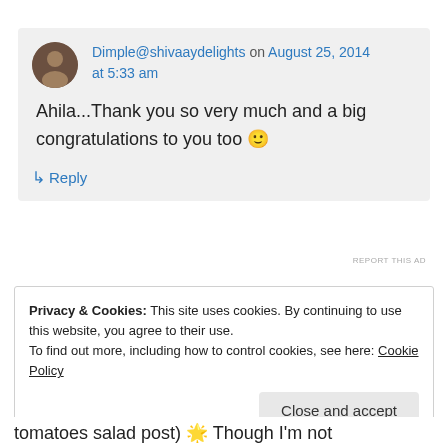Dimple@shivaaydelights on August 25, 2014 at 5:33 am
Ahila...Thank you so very much and a big congratulations to you too 🙂
↳ Reply
REPORT THIS AD
Privacy & Cookies: This site uses cookies. By continuing to use this website, you agree to their use. To find out more, including how to control cookies, see here: Cookie Policy
Close and accept
tomatoes salad post) 🌟 Though I'm not